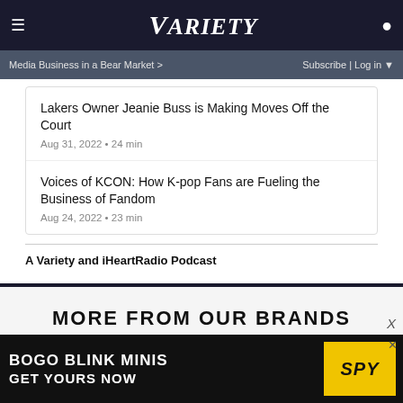Variety
Media Business in a Bear Market >   Subscribe | Log in
Lakers Owner Jeanie Buss is Making Moves Off the Court
Aug 31, 2022 • 24 min
Voices of KCON: How K-pop Fans are Fueling the Business of Fandom
Aug 24, 2022 • 23 min
A Variety and iHeartRadio Podcast
MORE FROM OUR BRANDS
[Figure (photo): Photo strip showing person at podium or event]
[Figure (screenshot): Ad banner: BOGO BLINK MINIS - GET YOURS NOW with SPY logo in yellow]